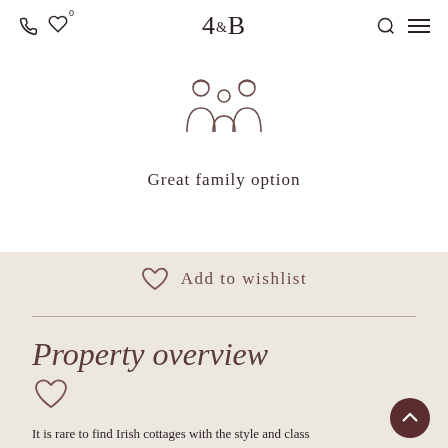4B logo with navigation icons (phone, wishlist, search, menu)
[Figure (illustration): Line icon of a family (two adults and a child silhouette)]
Great family option
Add to wishlist
Property overview
It is rare to find Irish cottages with the style and class